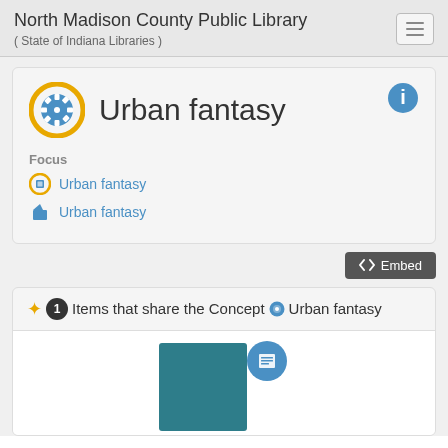North Madison County Public Library ( State of Indiana Libraries )
Urban fantasy
Focus
Urban fantasy
Urban fantasy
</>  Embed
1  Items that share the Concept  Urban fantasy
[Figure (illustration): Book cover thumbnail with teal/dark cyan color and a circular blue badge with a book icon overlay]